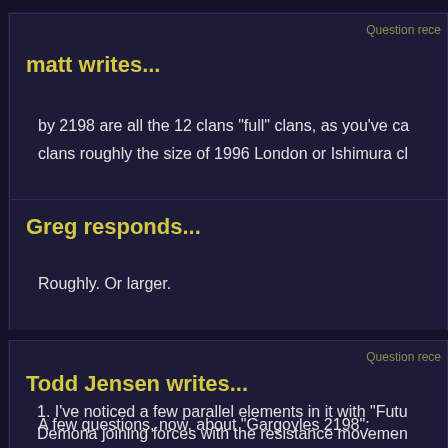Question rece
matt writes...
by 2198 are all the 12 clans "full" clans, as you've ca clans roughly the size of 1996 London or Ishimura cl
Greg responds...
Roughly. Or larger.
Question rece
Todd Jensen writes...
A few questions, now, about "Gargoyles 2198":
1. I've noticed a few parallel elements in it with "Futu
Demona joining forces with the resistance movemen
The LXMs serving as a parallel to "Cyber-Lex".